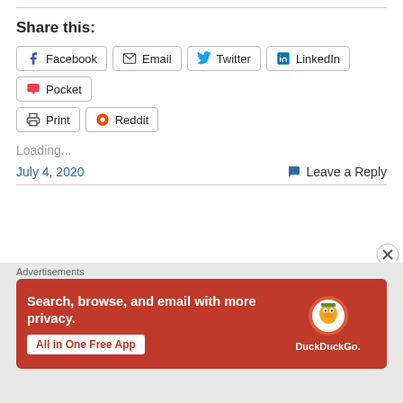Share this:
[Figure (other): Social share buttons: Facebook, Email, Twitter, LinkedIn, Pocket, Print, Reddit]
Loading...
July 4, 2020    Leave a Reply
[Figure (infographic): DuckDuckGo advertisement: Search, browse, and email with more privacy. All in One Free App.]